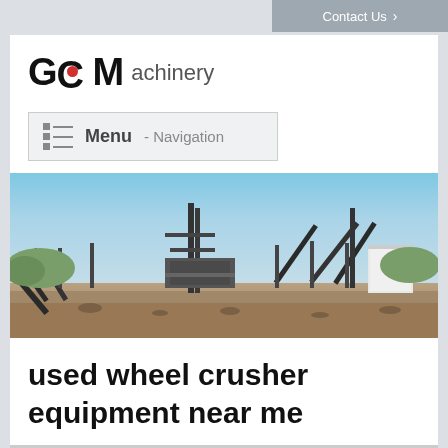Contact Us >
[Figure (logo): GCM achinery logo with red dot inside the letter C]
Menu - Navigation
[Figure (photo): Industrial mining/crushing machinery plant with conveyor belts and processing equipment against a blue sky]
used wheel crusher equipment near me